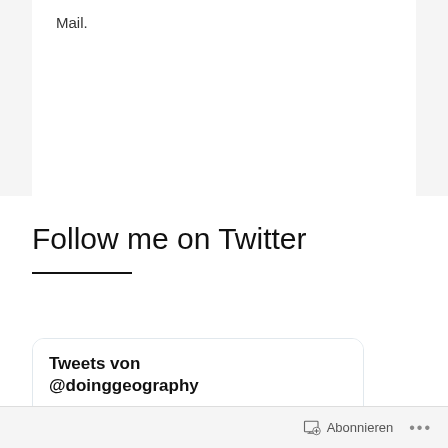Mail.
Follow me on Twitter
[Figure (screenshot): Twitter widget showing 'Tweets von @doinggeography' with a retweet by Stefan Applis, showing OC Media account tweet from 24. Aug.]
Abonnieren  •••